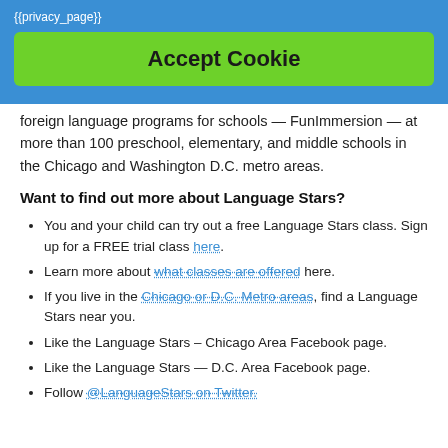{{privacy_page}}
Accept Cookie
foreign language programs for schools — FunImmersion — at more than 100 preschool, elementary, and middle schools in the Chicago and Washington D.C. metro areas.
Want to find out more about Language Stars?
You and your child can try out a free Language Stars class. Sign up for a FREE trial class here.
Learn more about what classes are offered here.
If you live in the Chicago or D.C. Metro areas, find a Language Stars near you.
Like the Language Stars – Chicago Area Facebook page.
Like the Language Stars — D.C. Area Facebook page.
Follow @LanguageStars on Twitter.